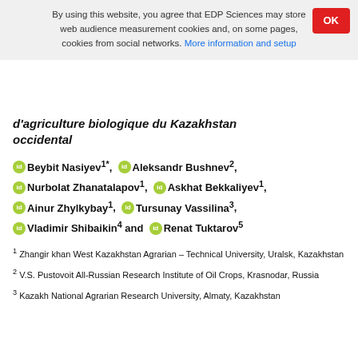By using this website, you agree that EDP Sciences may store web audience measurement cookies and, on some pages, cookies from social networks. More information and setup
d'agriculture biologique du Kazakhstan occidental
Beybit Nasiyev1*, Aleksandr Bushnev2, Nurbolat Zhanatalapov1, Askhat Bekkaliyev1, Ainur Zhylkybay1, Tursunay Vassilina3, Vladimir Shibaikin4 and Renat Tuktarov5
1 Zhangir khan West Kazakhstan Agrarian – Technical University, Uralsk, Kazakhstan
2 V.S. Pustovoit All-Russian Research Institute of Oil Crops, Krasnodar, Russia
3 Kazakh National Agrarian Research University, Almaty, Kazakhstan